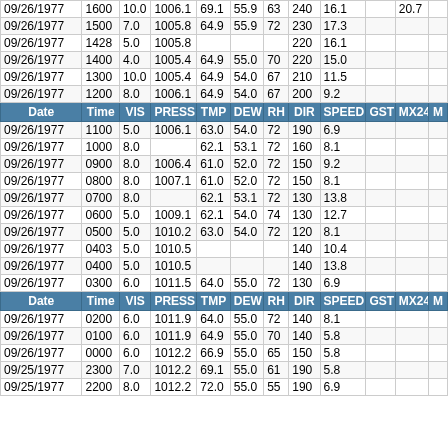| Date | Time | VIS | PRESS | TMP | DEW | RH | DIR | SPEED | GST | MX24 | M |
| --- | --- | --- | --- | --- | --- | --- | --- | --- | --- | --- | --- |
| 09/26/1977 | 1600 | 10.0 | 1006.1 | 69.1 | 55.9 | 63 | 240 | 16.1 |  | 20.7 |  |
| 09/26/1977 | 1500 | 7.0 | 1005.8 | 64.9 | 55.9 | 72 | 230 | 17.3 |  |  |  |
| 09/26/1977 | 1428 | 5.0 | 1005.8 |  |  |  | 220 | 16.1 |  |  |  |
| 09/26/1977 | 1400 | 4.0 | 1005.4 | 64.9 | 55.0 | 70 | 220 | 15.0 |  |  |  |
| 09/26/1977 | 1300 | 10.0 | 1005.4 | 64.9 | 54.0 | 67 | 210 | 11.5 |  |  |  |
| 09/26/1977 | 1200 | 8.0 | 1006.1 | 64.9 | 54.0 | 67 | 200 | 9.2 |  |  |  |
| HEADER |  |  |  |  |  |  |  |  |  |  |  |
| 09/26/1977 | 1100 | 5.0 | 1006.1 | 63.0 | 54.0 | 72 | 190 | 6.9 |  |  |  |
| 09/26/1977 | 1000 | 8.0 |  | 62.1 | 53.1 | 72 | 160 | 8.1 |  |  |  |
| 09/26/1977 | 0900 | 8.0 | 1006.4 | 61.0 | 52.0 | 72 | 150 | 9.2 |  |  |  |
| 09/26/1977 | 0800 | 8.0 | 1007.1 | 61.0 | 52.0 | 72 | 150 | 8.1 |  |  |  |
| 09/26/1977 | 0700 | 8.0 |  | 62.1 | 53.1 | 72 | 130 | 13.8 |  |  |  |
| 09/26/1977 | 0600 | 5.0 | 1009.1 | 62.1 | 54.0 | 74 | 130 | 12.7 |  |  |  |
| 09/26/1977 | 0500 | 5.0 | 1010.2 | 63.0 | 54.0 | 72 | 120 | 8.1 |  |  |  |
| 09/26/1977 | 0403 | 5.0 | 1010.5 |  |  |  | 140 | 10.4 |  |  |  |
| 09/26/1977 | 0400 | 5.0 | 1010.5 |  |  |  | 140 | 13.8 |  |  |  |
| 09/26/1977 | 0300 | 6.0 | 1011.5 | 64.0 | 55.0 | 72 | 130 | 6.9 |  |  |  |
| HEADER |  |  |  |  |  |  |  |  |  |  |  |
| 09/26/1977 | 0200 | 6.0 | 1011.9 | 64.0 | 55.0 | 72 | 140 | 8.1 |  |  |  |
| 09/26/1977 | 0100 | 6.0 | 1011.9 | 64.9 | 55.0 | 70 | 140 | 5.8 |  |  |  |
| 09/26/1977 | 0000 | 6.0 | 1012.2 | 66.9 | 55.0 | 65 | 150 | 5.8 |  |  |  |
| 09/25/1977 | 2300 | 7.0 | 1012.2 | 69.1 | 55.0 | 61 | 190 | 5.8 |  |  |  |
| 09/25/1977 | 2200 | 8.0 | 1012.2 | 72.0 | 55.0 | 55 | 190 | 6.9 |  |  |  |